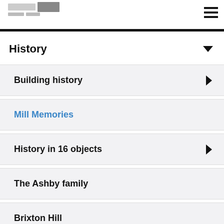Museum website header with logo and hamburger menu
History
Building history
Mill Memories
History in 16 objects
The Ashby family
Brixton Hill